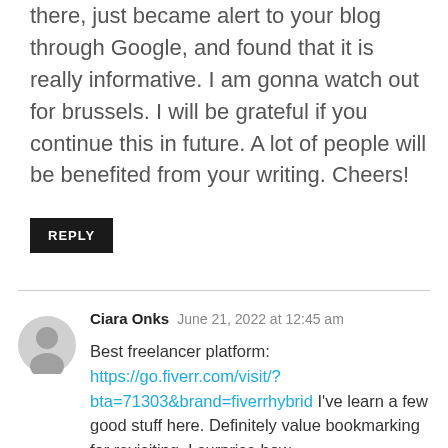there, just became alert to your blog through Google, and found that it is really informative. I am gonna watch out for brussels. I will be grateful if you continue this in future. A lot of people will be benefited from your writing. Cheers!
REPLY
Ciara Onks  June 21, 2022 at 12:45 am
Best freelancer platform: https://go.fiverr.com/visit/?bta=71303&brand=fiverrhybrid I've learn a few good stuff here. Definitely value bookmarking for revisiting. I surprise how